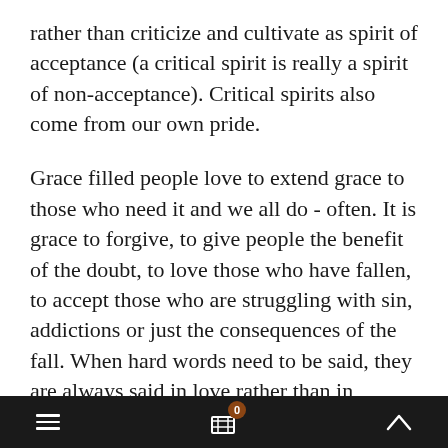rather than criticize and cultivate as spirit of acceptance (a critical spirit is really a spirit of non-acceptance). Critical spirits also come from our own pride.
Grace filled people love to extend grace to those who need it and we all do - often. It is grace to forgive, to give people the benefit of the doubt, to love those who have fallen, to accept those who are struggling with sin, addictions or just the consequences of the fall. When hard words need to be said, they are always said in love rather than in condemnation. Their goal is always restoration and health.
Grace filled people are transparent about
≡  🛒 0  ∧